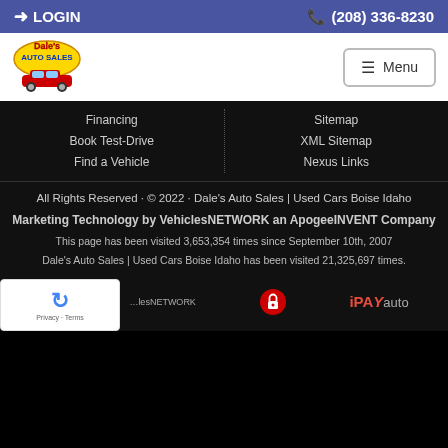LOGIN   (208) 336-8230
[Figure (logo): Dale's Auto Sales logo with colorful text and car illustration]
Financing
Book Test-Drive
Find a Vehicle
Sitemap
XML Sitemap
Nexus Links
All Rights Reserved · © 2022 · Dale's Auto Sales | Used Cars Boise Idaho
Marketing Technology by VehiclesNETWORK an ApogeeINVENT Company
This page has been visited 3,653,354 times since September 10th, 2007
Dale's Auto Sales | Used Cars Boise Idaho has been visited 21,325,697 times.
[Figure (logo): VehiclesNETWORK logo, lock security icon, and iPAY auto logo]
[Figure (logo): reCAPTCHA widget overlay showing Privacy and Terms]